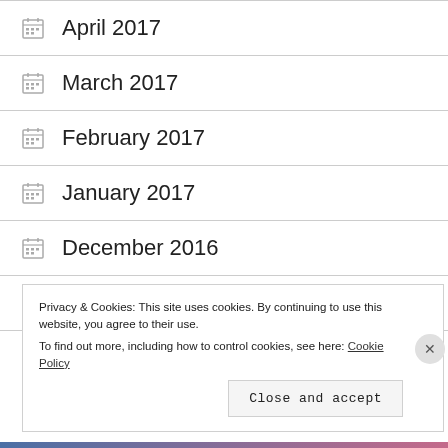April 2017
March 2017
February 2017
January 2017
December 2016
November 2016
Privacy & Cookies: This site uses cookies. By continuing to use this website, you agree to their use. To find out more, including how to control cookies, see here: Cookie Policy Close and accept